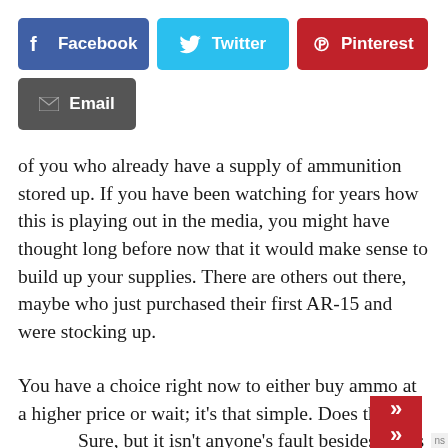[Figure (other): Social share buttons: Facebook (dark blue), Twitter (light blue), Pinterest (red), Email (dark gray)]
of you who already have a supply of ammunition stored up. If you have been watching for years how this is playing out in the media, you might have thought long before now that it would make sense to build up your supplies. There are others out there, maybe who just purchased their first AR-15 and were stocking up.
You have a choice right now to either buy ammo at a higher price or wait; it’s that simple. Does that suc… Sure, but it isn’t anyone’s fault besides yours that… don’t have ammo already. Complaining about people who buy a ton and sell it at a profit is a waste of your